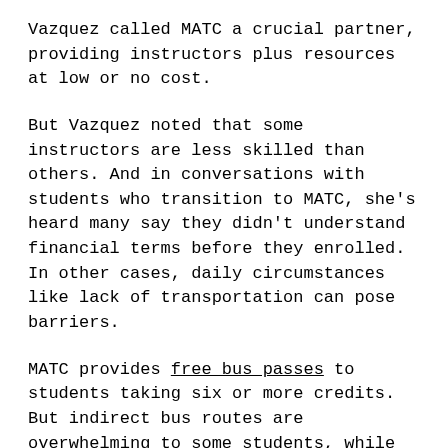Vazquez called MATC a crucial partner, providing instructors plus resources at low or no cost.
But Vazquez noted that some instructors are less skilled than others. And in conversations with students who transition to MATC, she's heard many say they didn't understand financial terms before they enrolled. In other cases, daily circumstances like lack of transportation can pose barriers.
MATC provides free bus passes to students taking six or more credits. But indirect bus routes are overwhelming to some students, while others worry about sitting on public transportation amidst a pandemic, she said.
Vazquez is hopeful that MATC's plan to offer more services at community-based organizations across